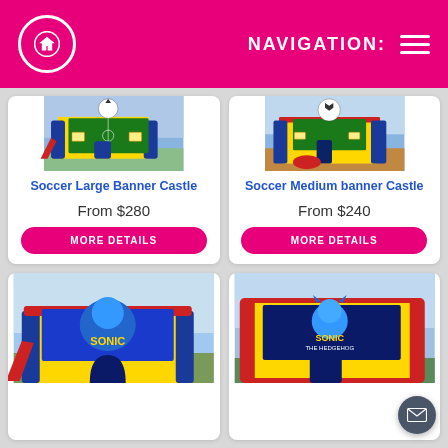NAVIGATION:
[Figure (photo): Soccer Large Banner Castle bounce house - colorful inflatable with soccer ball banner, slide, yellow and blue colors]
Soccer Large Banner Castle
From $280
MORE DETAILS
[Figure (photo): Soccer Medium Banner Castle bounce house - colorful inflatable with soccer ball banner, red yellow and blue colors]
Soccer Medium banner Castle
From $240
MORE DETAILS
[Figure (photo): Sonic the Hedgehog bounce house - large inflatable with Sonic banner, blue and yellow colors with slide]
[Figure (photo): Sonic the Hedgehog bounce house - inflatable with Sonic banner and red frame]